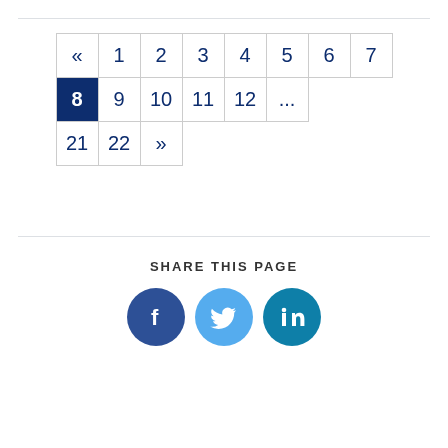[Figure (other): Pagination navigation widget showing pages: «, 1, 2, 3, 4, 5, 6, 7 in row 1; 8 (active/highlighted in dark blue), 9, 10, 11, 12, ... in row 2; 21, 22, » in row 3]
SHARE THIS PAGE
[Figure (other): Three social media share buttons: Facebook (dark blue circle with f logo), Twitter (light blue circle with bird logo), LinkedIn (teal circle with in logo)]